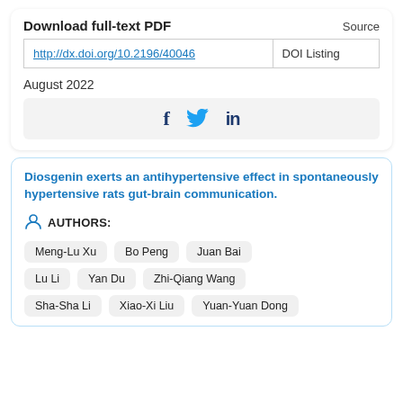Download full-text PDF
|  | Source |
| --- | --- |
| http://dx.doi.org/10.2196/40046 | DOI Listing |
August 2022
[Figure (other): Social sharing icons: Facebook (f), Twitter (bird), LinkedIn (in)]
Diosgenin exerts an antihypertensive effect in spontaneously hypertensive rats gut-brain communication.
AUTHORS:
Meng-Lu Xu
Bo Peng
Juan Bai
Lu Li
Yan Du
Zhi-Qiang Wang
Sha-Sha Li
Xiao-Xi Liu
Yuan-Yuan Dong